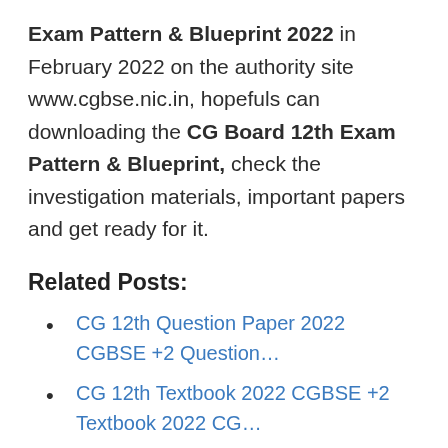Exam Pattern & Blueprint 2022 in February 2022 on the authority site www.cgbse.nic.in, hopefuls can downloading the CG Board 12th Exam Pattern & Blueprint, check the investigation materials, important papers and get ready for it.
Related Posts:
CG 12th Question Paper 2022 CGBSE +2 Question…
CG 12th Textbook 2022 CGBSE +2 Textbook 2022 CG…